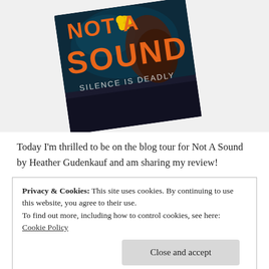[Figure (photo): Photo of a book cover titled 'Not A Sound' with subtitle 'SILENCE IS DEADLY', dark cover with orange text and a figure underwater, lying at an angle on a white surface.]
Today I'm thrilled to be on the blog tour for Not A Sound by Heather Gudenkauf and am sharing my review!
Privacy & Cookies: This site uses cookies. By continuing to use this website, you agree to their use.
To find out more, including how to control cookies, see here:
Cookie Policy

Close and accept
Amelia Winn has a lot of regrets. She regrets the first